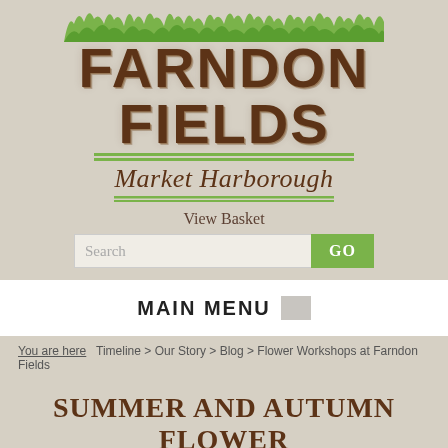[Figure (logo): Farndon Fields Market Harborough logo with green grass illustration at top, stylized wood-grain lettering for FARNDON FIELDS, green horizontal lines, and cursive Market Harborough text]
View Basket
[Figure (other): Search bar with GO button]
MAIN MENU
You are here  Timeline > Our Story > Blog > Flower Workshops at Farndon Fields
SUMMER AND AUTUMN FLOWER